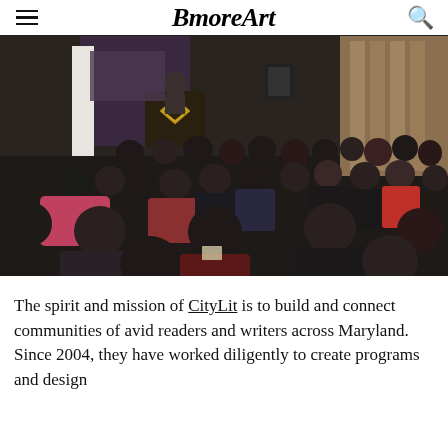BmoreArt
[Figure (photo): A crowded indoor event or panel discussion. An audience of many people seated in rows faces a speaker at a podium with a diamond-shaped logo. The room has white columns and curtains in the background.]
The spirit and mission of CityLit is to build and connect communities of avid readers and writers across Maryland. Since 2004, they have worked diligently to create programs and design